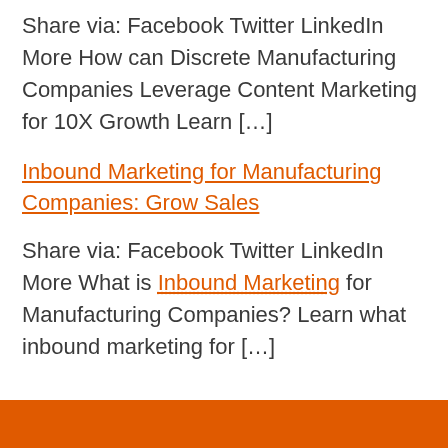Share via: Facebook Twitter LinkedIn More How can Discrete Manufacturing Companies Leverage Content Marketing for 10X Growth Learn […]
Inbound Marketing for Manufacturing Companies: Grow Sales
Share via: Facebook Twitter LinkedIn More What is Inbound Marketing for Manufacturing Companies? Learn what inbound marketing for […]